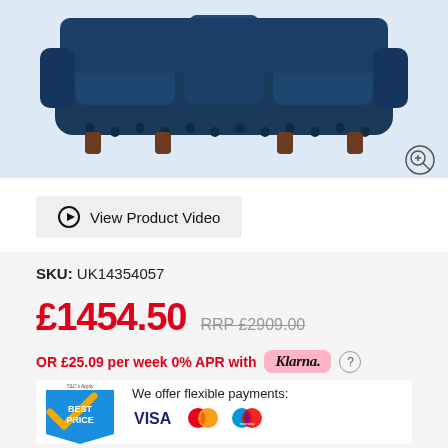[Figure (photo): Dark navy blue tufted leather chesterfield sofa with button detailing and wooden feet, shown from front angle on light blue background]
View Product Video
SKU: UK14354057
£1454.50  RRP £2909.00
OR £25.09 per week 0% APR with Klarna.
We offer flexible payments: